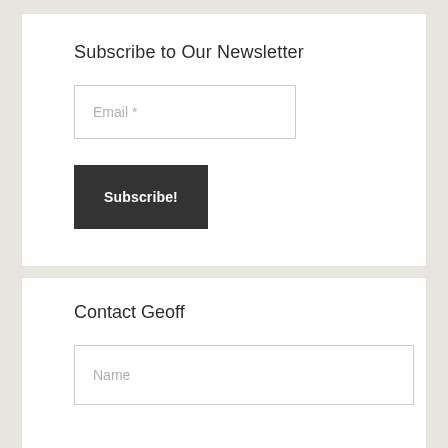Subscribe to Our Newsletter
Email *
Subscribe!
Contact Geoff
Name